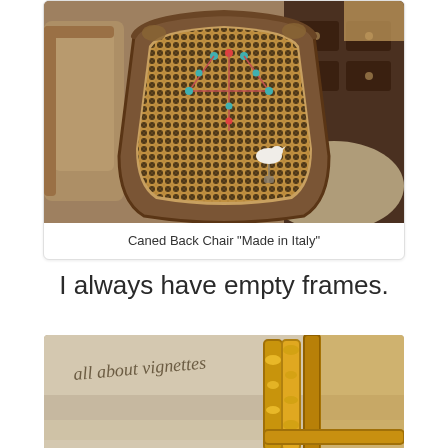[Figure (photo): A caned back chair with ornate wooden frame, decorated with turquoise and red beads forming a necklace pattern on the cane. A small white ceramic bird ornament is attached. The chair is photographed against a backdrop of furniture items including a dark wood dresser.]
Caned Back Chair "Made in Italy"
I always have empty frames.
[Figure (photo): Partial view of ornate gold picture frames leaning against a light fabric backdrop with handwritten text 'all about vignettes'.]